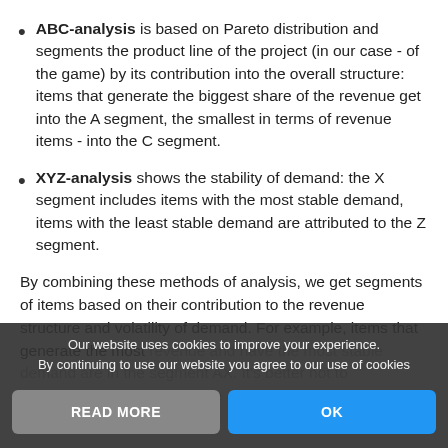ABC-analysis is based on Pareto distribution and segments the product line of the project (in our case - of the game) by its contribution into the overall structure: items that generate the biggest share of the revenue get into the A segment, the smallest in terms of revenue items - into the C segment.
XYZ-analysis shows the stability of demand: the X segment includes items with the most stable demand, items with the least stable demand are attributed to the Z segment.
By combining these methods of analysis, we get segments of items based on their contribution to the revenue structure and volatility of demand. For example, items that generate the most revenue and have the most stable demand are in the segment AX. It's better not to experiment with them. On the other hand, free to …
Our website uses cookies to improve your experience. By continuing to use our website you agree to our use of cookies